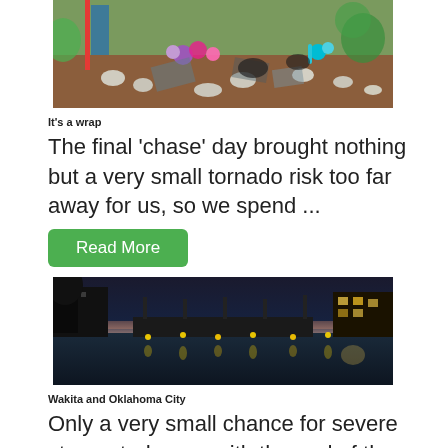[Figure (photo): Outdoor scene showing a memorial or roadside marker with flowers, stones, and miscellaneous objects on the ground, surrounded by vegetation.]
It's a wrap
The final 'chase' day brought nothing but a very small tornado risk too far away for us, so we spend ...
[Figure (photo): Night-time city waterfront scene with reflections of lights on the water, buildings silhouetted against a twilight sky.]
Wakita and Oklahoma City
Only a very small chance for severe storms today, so with the end of the trip approaching we headed